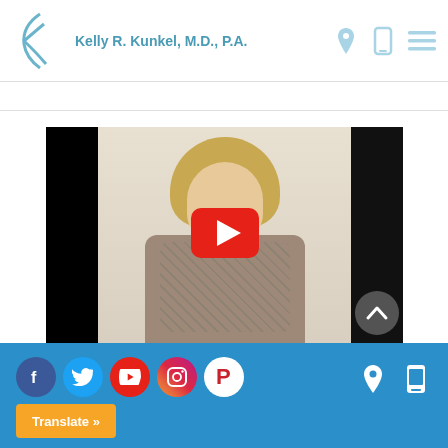Kelly R. Kunkel, M.D., P.A.
[Figure (screenshot): YouTube video thumbnail showing a woman with blonde hair wearing a patterned blazer, with a red YouTube play button overlay. Black letterbox bars on left and right sides.]
Social media icons (Facebook, Twitter, YouTube, Instagram, Pinterest), Translate button, location and phone icons